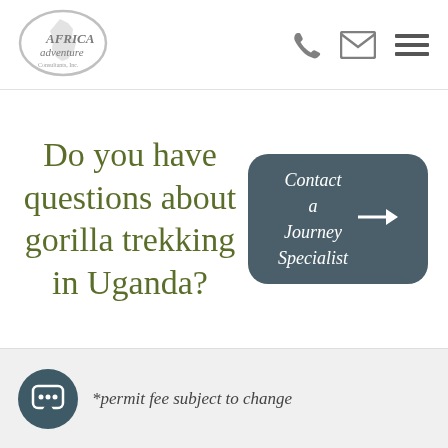[Figure (logo): Africa Adventure Consultants logo - oval shaped with text and map silhouette]
[Figure (infographic): Navigation icons: phone, envelope/mail, and hamburger menu]
Do you have questions about gorilla trekking in Uganda?
[Figure (infographic): Dark teal rounded rectangle button with italic text 'Contact a Journey Specialist' and right arrow]
[Figure (infographic): Dark teal circular chat bubble icon]
*permit fee subject to change